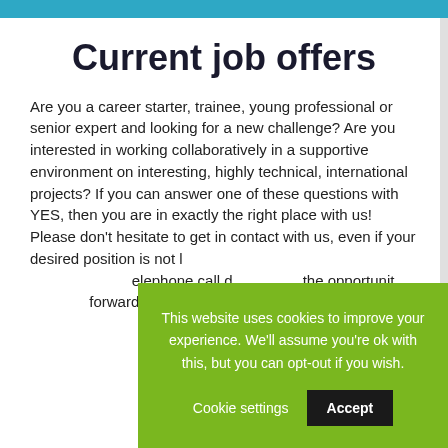Current job offers
Are you a career starter, trainee, young professional or senior expert and looking for a new challenge? Are you interested in working collaboratively in a supportive environment on interesting, highly technical, international projects? If you can answer one of these questions with YES, then you are in exactly the right place with us! Please don't hesitate to get in contact with us, even if your desired position is not listed below. Simply send us your documents so that we can get to know you better. A telephone call can then often give both parties the opportunity to exchange ideas. We look forward to hearing from you!
This website uses cookies to improve your experience. We'll assume you're ok with this, but you can opt-out if you wish.  Cookie settings  Accept